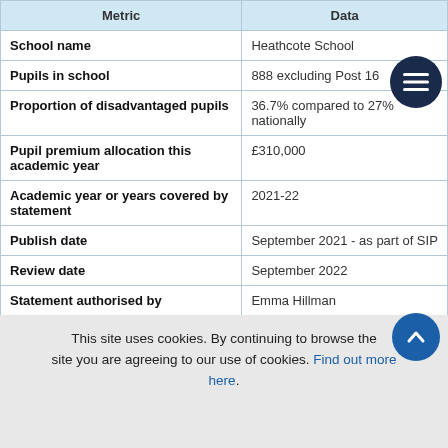| Metric | Data |
| --- | --- |
| School name | Heathcote School |
| Pupils in school | 888 excluding Post 16 |
| Proportion of disadvantaged pupils | 36.7% compared to 27% nationally |
| Pupil premium allocation this academic year | £310,000 |
| Academic year or years covered by statement | 2021-22 |
| Publish date | September 2021 - as part of SIP |
| Review date | September 2022 |
| Statement authorised by | Emma Hillman |
This site uses cookies. By continuing to browse the site you are agreeing to our use of cookies. Find out more here.